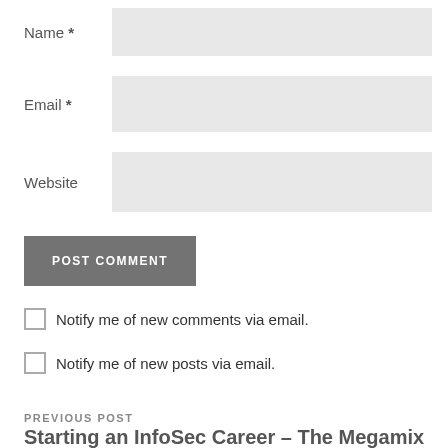Name *
Email *
Website
POST COMMENT
Notify me of new comments via email.
Notify me of new posts via email.
PREVIOUS POST
Starting an InfoSec Career – The Megamix